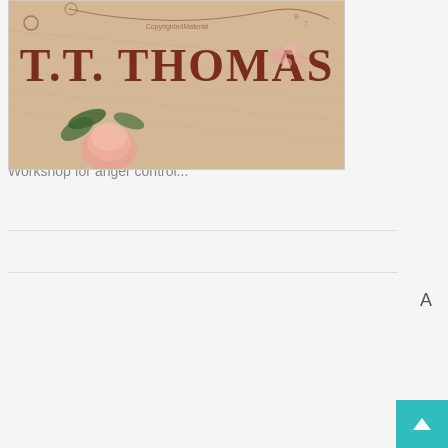[Figure (illustration): Book cover of an anger management workbook showing 'Matthew McKay, Ph.D. Peter Rogers, Ph.D.' authors name on a blue/purple background]
Control Workbook PDF
Workshop for anger control...
[Figure (illustration): Book cover for T.T. Thomas on a vintage decorative background with roses and floral elements]
A